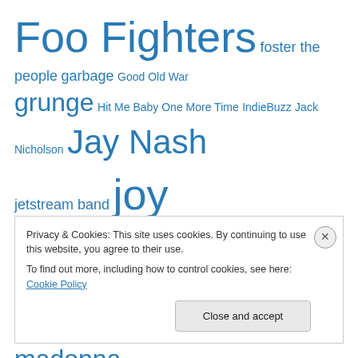Foo Fighters foster the people garbage Good Old War grunge Hit Me Baby One More Time IndieBuzz Jack Nicholson Jay Nash jetstream band joy formidable karen o Krist Novoselic Lily Allen live review lollapalooza Lovehammers madonna Magnet Magazine Marty Casey Max Lugavere MMC nancy wilson nate mendel nigel tufnel day nikka costa origivation Pat Smear Philadelphia popped music festival ritzy bryan Rock Star: INXS Rocky scattered trees
Privacy & Cookies: This site uses cookies. By continuing to use this website, you agree to their use.
To find out more, including how to control cookies, see here: Cookie Policy
Close and accept